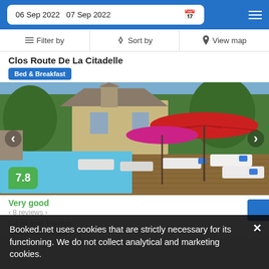06 Sep 2022  07 Sep 2022
Filter by   Sort by   View map
Clos Route De La Citadelle
Bed & Breakfast
[Figure (photo): Pool and terrace area of Clos Route De La Citadelle bed and breakfast, with sun loungers, red parasol, and French country house in background]
7.8
Very good
8 reviews
0.4 mi from Pauillac
0.4 mi from Center
Booked.net uses cookies that are strictly necessary for its functioning. We do not collect analytical and marketing cookies.